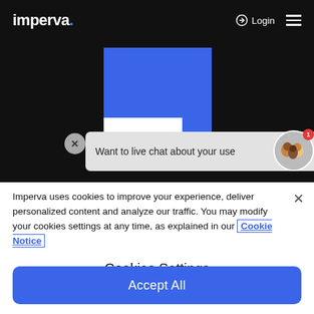imperva   Login  ☰
[Figure (screenshot): Imperva website screenshot showing a blue geometric graphic and a live chat popup that says 'Want to live chat about your use']
Imperva uses cookies to improve your experience, deliver personalized content and analyze our traffic. You may modify your cookies settings at any time, as explained in our Cookie Notice
Cookies Settings
Accept All